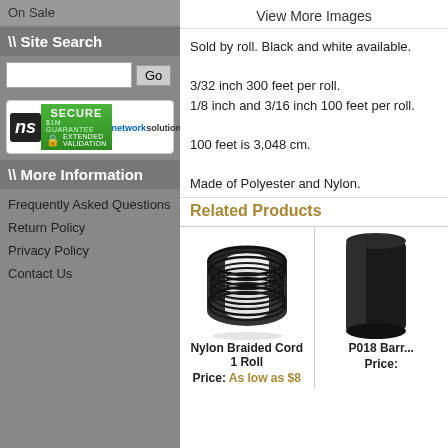On Sale
\\ Site Search
[Figure (logo): Network Solutions Secure Extended Validation badge with green background and lock icon]
\\ More Information
Frequently Asked Questions
Return Policy
Privacy Policy
Contact Us
View More Images
Sold by roll. Black and white available.
3/32 inch 300 feet per roll.
1/8 inch and 3/16 inch 100 feet per roll.
100 feet is 3,048 cm.
Made of Polyester and Nylon.
Related Products
[Figure (photo): Nylon braided cord on a spool, black cord]
Nylon Braided Cord 1 Roll
Price: As low as $8
[Figure (photo): P018 product, partially visible]